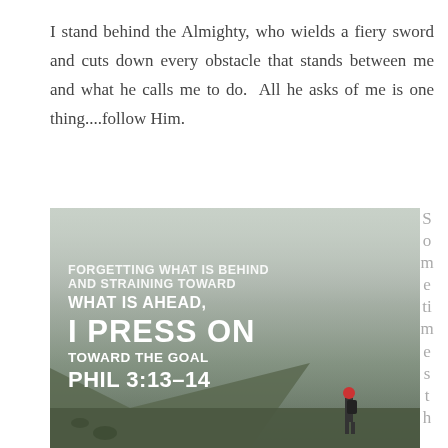I stand behind the Almighty, who wields a fiery sword and cuts down every obstacle that stands between me and what he calls me to do.  All he asks of me is one thing....follow Him.
[Figure (photo): A misty mountainside landscape photo with a lone person standing in fog. Overlaid bold white text reads: FORGETTING WHAT IS BEHIND AND STRAINING TOWARD WHAT IS AHEAD, I PRESS ON TOWARD THE GOAL PHIL 3:13-14]
S o m e ti m e s t h